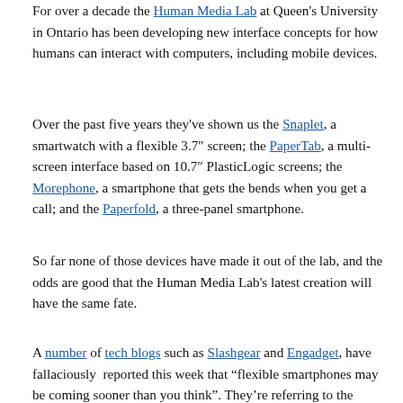For over a decade the Human Media Lab at Queen's University in Ontario has been developing new interface concepts for how humans can interact with computers, including mobile devices.
Over the past five years they've shown us the Snaplet, a smartwatch with a flexible 3.7" screen; the PaperTab, a multi-screen interface based on 10.7" PlasticLogic screens; the Morephone, a smartphone that gets the bends when you get a call; and the Paperfold, a three-panel smartphone.
So far none of those devices have made it out of the lab, and the odds are good that the Human Media Lab's latest creation will have the same fate.
A number of tech blogs such as Slashgear and Engadget, have fallaciously reported this week that “flexible smartphones may be coming sooner than you think". They're referring to the